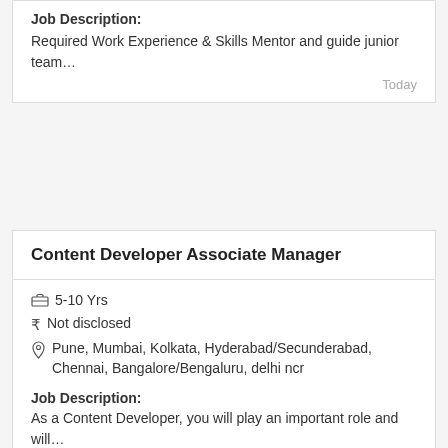Job Description:
Required Work Experience & Skills Mentor and guide junior team…
Today
Content Developer Associate Manager
5-10 Yrs
Not disclosed
Pune, Mumbai, Kolkata, Hyderabad/Secunderabad, Chennai, Bangalore/Bengaluru, delhi ncr
Job Description:
As a Content Developer, you will play an important role and will…
Today